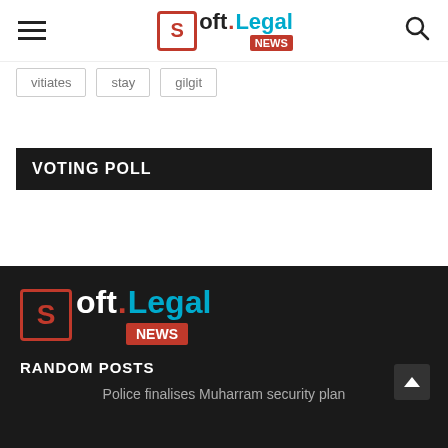Soft.Legal NEWS
vitiates
stay
gilgit
VOTING POLL
[Figure (logo): Soft.Legal NEWS logo in footer, white and cyan text on dark background with red NEWS badge]
RANDOM POSTS
Police finalises Muharram security plan